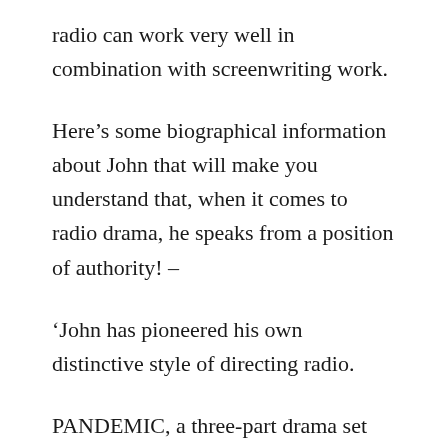radio can work very well in combination with screenwriting work.
Here’s some biographical information about John that will make you understand that, when it comes to radio drama, he speaks from a position of authority! –
‘John has pioneered his own distinctive style of directing radio.
PANDEMIC, a three-part drama set around a devastating worldwide viral outbreak, written and directed by John, was broadcast by BBC Radio 4 on 26-